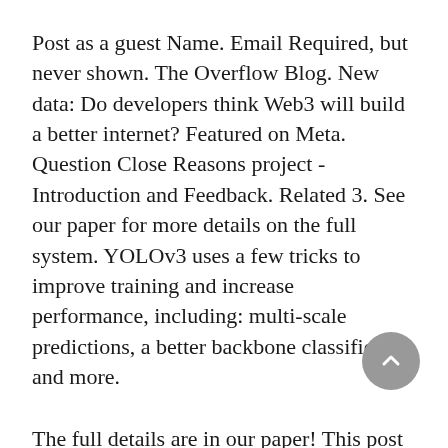Post as a guest Name. Email Required, but never shown. The Overflow Blog. New data: Do developers think Web3 will build a better internet? Featured on Meta. Question Close Reasons project - Introduction and Feedback. Related 3. See our paper for more details on the full system. YOLOv3 uses a few tricks to improve training and increase performance, including: multi-scale predictions, a better backbone classifier, and more.
The full details are in our paper! This post will guide you through detecting objects with the YOLO system using a pre-trained model. Or instead of reading all that just run:. You will have to download the pre-trained weight file here MB. Or just run this:. Darknet prints out the objects it detected, its confidence, and how long it took to find them. Instead, it saves them in predictions. You can open it